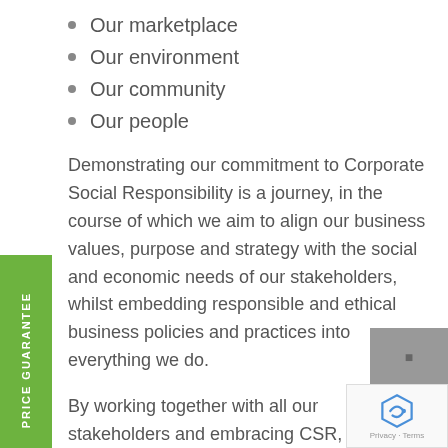Our marketplace
Our environment
Our community
Our people
Demonstrating our commitment to Corporate Social Responsibility is a journey, in the course of which we aim to align our business values, purpose and strategy with the social and economic needs of our stakeholders, whilst embedding responsible and ethical business policies and practices into everything we do.
By working together with all our stakeholders and embracing CSR, Radical Heating Solutions opens doors to new markets, opportunities and relationships, increasing competitiveness